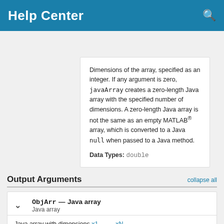Help Center
Resources
Dimensions of the array, specified as an integer. If any argument is zero, javaArray creates a zero-length Java array with the specified number of dimensions. A zero-length Java array is not the same as an empty MATLAB® array, which is converted to a Java null when passed to a Java method.
Data Types: double
Output Arguments
ObjArr — Java array
Java array
Java array with dimensions x1, . . . , xN.